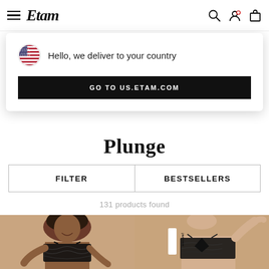Etam
Hello, we deliver to your country
GO TO US.ETAM.COM
Plunge
FILTER | BESTSELLERS
131 products found
[Figure (photo): Two models wearing black plunge bras on a beige background. Left model is a smiling Black woman with natural hair wearing a black lace longline bra. Right model is showing a black lace plunge bra with a wecare! tag visible.]